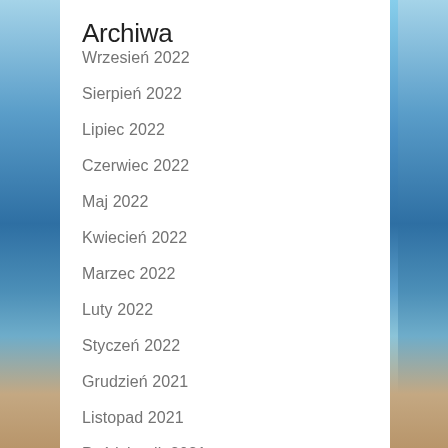Archiwa
Wrzesień 2022
Sierpień 2022
Lipiec 2022
Czerwiec 2022
Maj 2022
Kwiecień 2022
Marzec 2022
Luty 2022
Styczeń 2022
Grudzień 2021
Listopad 2021
Październik 2021
Wrzesień 2021